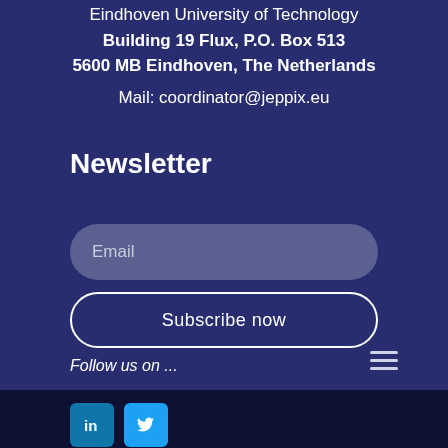Eindhoven University of Technology
Building 19 Flux, P.O. Box 513
5600 MB Eindhoven, The Netherlands
Mail: coordinator@jeppix.eu
Newsletter
Email
Subscribe now
Follow us on ...
[Figure (other): LinkedIn and Twitter social media icons]